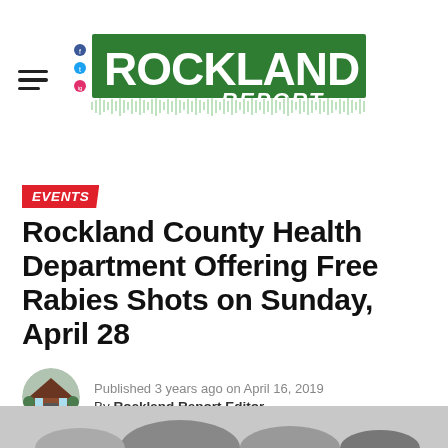Rockland Report
EVENTS
Rockland County Health Department Offering Free Rabies Shots on Sunday, April 28
Published 3 years ago on April 16, 2019
By Rockland Report Editor
[Figure (photo): Partial bottom image, animals partially visible at bottom of page]